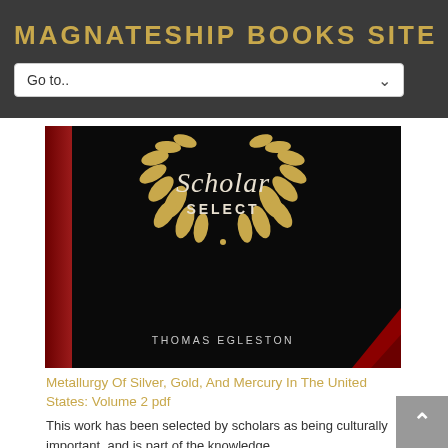MAGNATESHIP BOOKS SITE
Go to..
[Figure (illustration): Book cover for Scholar Select edition by Thomas Egleston. Black background with gold laurel wreath emblem containing 'Scholar SELECT' text. Red spine on left side. Red decorative corner element at bottom right. Author name 'THOMAS EGLESTON' in light letters at bottom center.]
Metallurgy Of Silver, Gold, And Mercury In The United States: Volume 2 pdf
This work has been selected by scholars as being culturally important, and is part of the knowledge